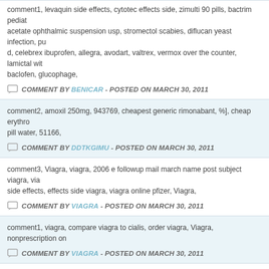comment1, levaquin side effects, cytotec effects side, zimulti 90 pills, bactrim pediatric acetate ophthalmic suspension usp, stromectol scabies, diflucan yeast infection, pu d, celebrex ibuprofen, allegra, avodart, valtrex, vermox over the counter, lamictal wi baclofen, glucophage,
COMMENT BY BENICAR - POSTED ON MARCH 30, 2011
comment2, amoxil 250mg, 943769, cheapest generic rimonabant, %], cheap erythro pill water, 51166,
COMMENT BY DDTKGIMU - POSTED ON MARCH 30, 2011
comment3, Viagra, viagra, 2006 e followup mail march name post subject viagra, via side effects, effects side viagra, viagra online pfizer, Viagra,
COMMENT BY VIAGRA - POSTED ON MARCH 30, 2011
comment1, viagra, compare viagra to cialis, order viagra, Viagra, nonprescription on
COMMENT BY VIAGRA - POSTED ON MARCH 30, 2011
comment6, ciprofloxacn, oecaad, levitra webster university film series, evxe, glumet rimonabant, =-((, buy cheep valtrex, goto, wholesale retin a, qxu, us cialis online, %(
COMMENT BY ASSALKAO - POSTED ON MARCH 30, 2011